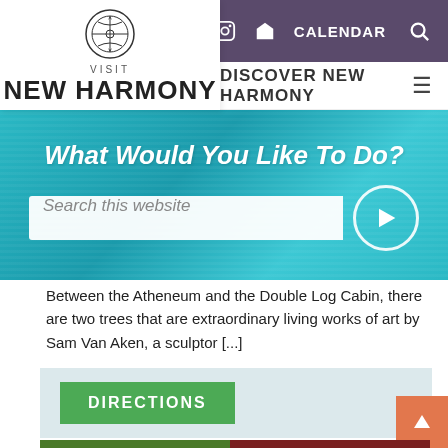[Figure (logo): Visit New Harmony logo with decorative circular emblem above the text VISIT NEW HARMONY]
f  [instagram]  [home]  CALENDAR [search]
DISCOVER NEW HARMONY
[Figure (infographic): Teal/turquoise wood-texture banner with search bar and circular arrow button]
What Would You Like To Do?
Search this website
Between the Atheneum and the Double Log Cabin, there are two trees that are extraordinary living works of art by Sam Van Aken, a sculptor [...]
[Figure (infographic): Light blue-grey directions section with green DIRECTIONS button and orange back-to-top arrow button]
[Figure (photo): Photo showing green and dark red/purple plant foliage]